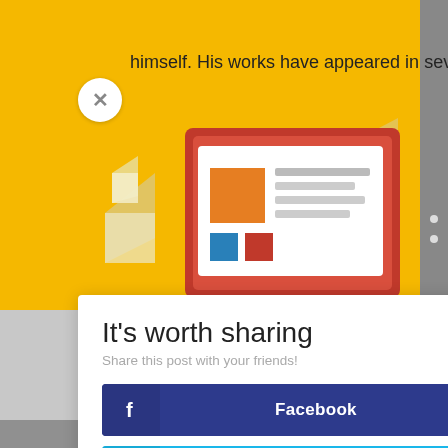himself. His works have appeared in several
[Figure (screenshot): Newsletter sharing illustration: red monitor/tablet with newspaper and envelope icons on yellow background]
It's worth sharing
Share this post with your friends!
Facebook
Twitter
LinkedIn
Evernote